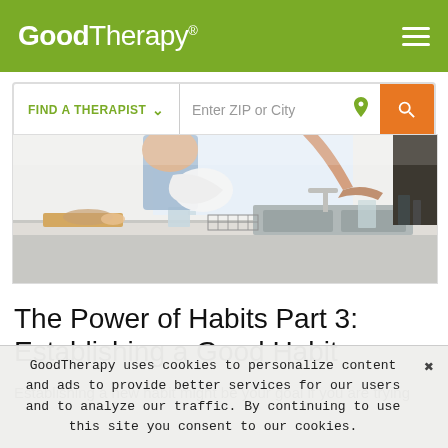GoodTherapy®
[Figure (screenshot): GoodTherapy website header with logo and hamburger menu on green background, and a search bar with 'FIND A THERAPIST' dropdown and 'Enter ZIP or City' input]
[Figure (photo): Photo of people in a kitchen working at a counter, with cooking items visible]
The Power of Habits Part 3: Establishing a Good Habit
Establishing a new habit might be your goal if you are trying
GoodTherapy uses cookies to personalize content and ads to provide better services for our users and to analyze our traffic. By continuing to use this site you consent to our cookies.